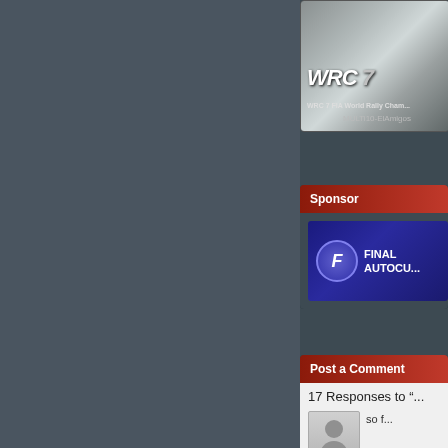[Figure (screenshot): WRC 7 FIA World Rally Championship game thumbnail with logo and MULTi10-ElAmigos credit text]
Sponsor
[Figure (logo): Final Autocue sponsor banner with circular F logo on dark blue background]
Post a Comment
17 Responses to "
[Figure (photo): Generic user avatar silhouette placeholder image]
so f